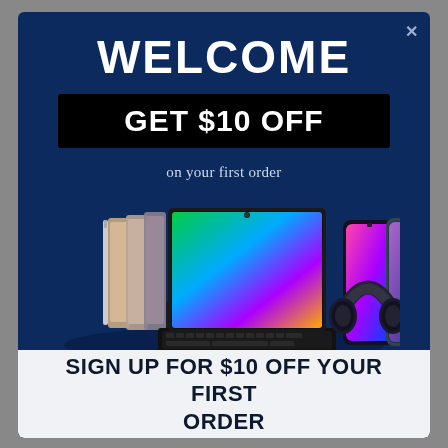WELCOME
GET $10 OFF
on your first order
[Figure (photo): Collage of electronic products including tablets, smartphones, smartwatches, headphones, and a keyboard on a dark blue background]
Minimum spend of $25
Terms and Conditions may apply.
SIGN UP FOR $10 OFF YOUR FIRST ORDER